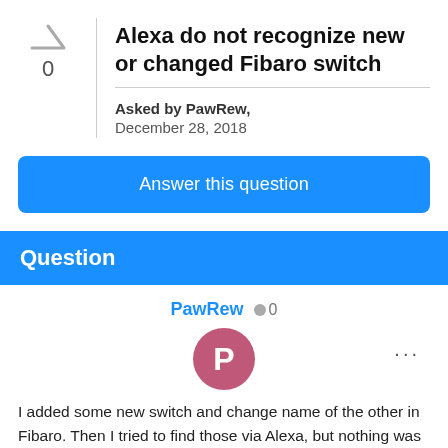Alexa do not recognize new or changed Fibaro switch
Asked by PawRew,
December 28, 2018
Answer this question
Question
PawRew  0
I added some new switch and change name of the other in Fibaro. Then I tried to find those via Alexa, but nothing was found. Alexa/Fibaro works fine with all existing devices. Any